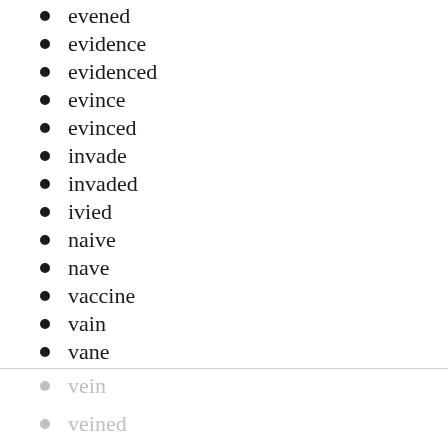evened
evidence
evidenced
evince
evinced
invade
invaded
ivied
naive
nave
vaccine
vain
vane
vein
veined